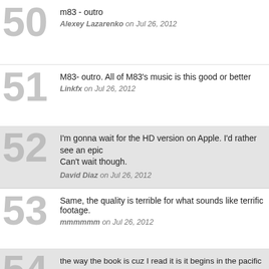m83 - outro
Alexey Lazarenko on Jul 26, 2012
M83- outro. All of M83's music is this good or better
Linkfx on Jul 26, 2012
I'm gonna wait for the HD version on Apple. I'd rather see an epic... Can't wait though.
David Diaz on Jul 26, 2012
Same, the quality is terrible for what sounds like terrific footage.
mmmmmm on Jul 26, 2012
the way the book is cuz I read it is it begins in the pacific in like t... way to san Francisco from the Pacific. The movie, like I think the... story midway before leaping into the next story that is intertwined... same way for the rest till the last story which is in a post apcolyptic... way through before trickling back down all the way to finish the c...